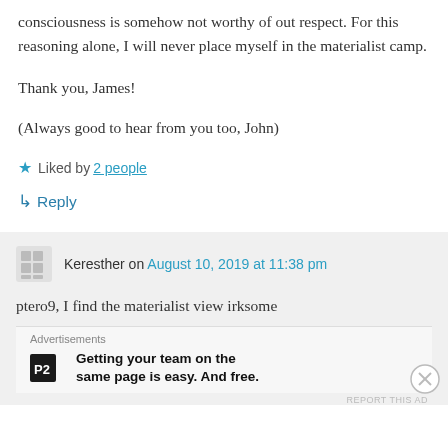consciousness is somehow not worthy of out respect. For this reasoning alone, I will never place myself in the materialist camp.
Thank you, James!
(Always good to hear from you too, John)
★ Liked by 2 people
↳ Reply
Keresther on August 10, 2019 at 11:38 pm
ptero9, I find the materialist view irksome
Advertisements
Getting your team on the same page is easy. And free.